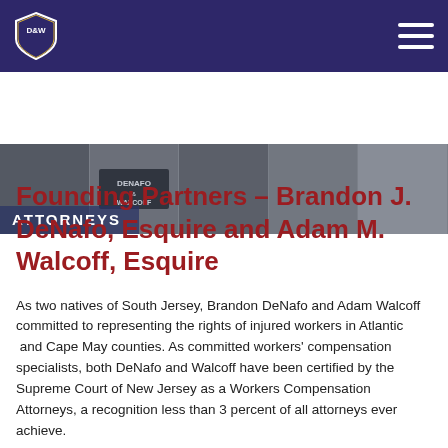DeNafo & Walcoff law firm logo and navigation
[Figure (photo): Hero banner showing black and white photos of the law firm exterior and people, with a DeNafo & Walcoff office sign visible. Dark blue overlay with 'ATTORNEYS' label at bottom left.]
Founding Partners – Brandon J. DeNafo, Esquire and Adam M. Walcoff, Esquire
As two natives of South Jersey, Brandon DeNafo and Adam Walcoff committed to representing the rights of injured workers in Atlantic and Cape May counties. As committed workers' compensation specialists, both DeNafo and Walcoff have been certified by the Supreme Court of New Jersey as a Workers Compensation Attorneys, a recognition less than 3 percent of all attorneys ever achieve.
They founded DeNafo and Walcoff, Attorneys at Law as a boutique law firm that specializes exclusively in workers' compensation law with the goal of providing personalized and professional representation to working families in Atlantic County. The practice is centrally located in